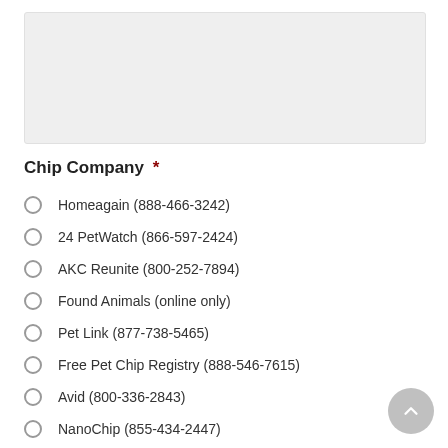[Figure (other): Gray input/text area box (form field)]
Chip Company  *
Homeagain (888-466-3242)
24 PetWatch (866-597-2424)
AKC Reunite (800-252-7894)
Found Animals (online only)
Pet Link (877-738-5465)
Free Pet Chip Registry (888-546-7615)
Avid (800-336-2843)
NanoChip (855-434-2447)